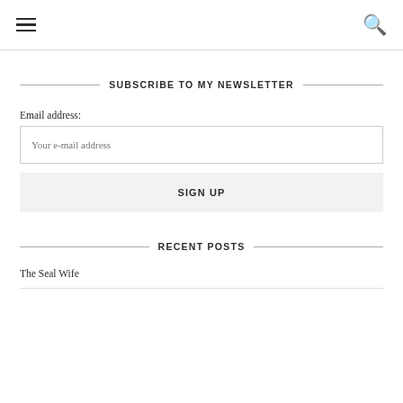≡  🔍
SUBSCRIBE TO MY NEWSLETTER
Email address:
Your e-mail address
SIGN UP
RECENT POSTS
The Seal Wife